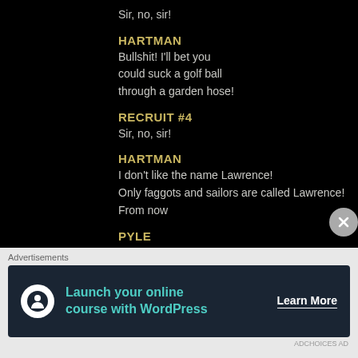Sir, no, sir!
HARTMAN
Bullshit! I'll bet you could suck a golf ball through a garden hose!
RECRUIT #4
Sir, no, sir!
HARTMAN
I don't like the name Lawrence! Only faggots and sailors are called Lawrence! From now
PYLE
Sir, yes, sir!
[Pyle has the trace of a strange smile on his face]
HARTMAN
Do you think I'm cute, Private Pyle? Do you think I'm...
Advertisements
[Figure (other): Advertisement banner: Launch your online course with WordPress. Learn More button.]